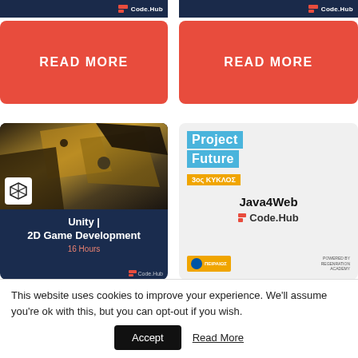[Figure (screenshot): Code.Hub logo strip top left, dark blue background]
[Figure (screenshot): Code.Hub logo strip top right, dark blue background]
READ MORE
READ MORE
[Figure (illustration): Unity 2D Game Development course card with geometric 3D shapes background and Unity logo. Title: Unity | 2D Game Development. 16 Hours. Code.Hub branding.]
[Figure (illustration): Project Future 3rd cycle card, Java4Web course by Code.Hub. Piraeus Bank and ReGeneration Academy logos at bottom.]
This website uses cookies to improve your experience. We'll assume you're ok with this, but you can opt-out if you wish.
Accept
Read More